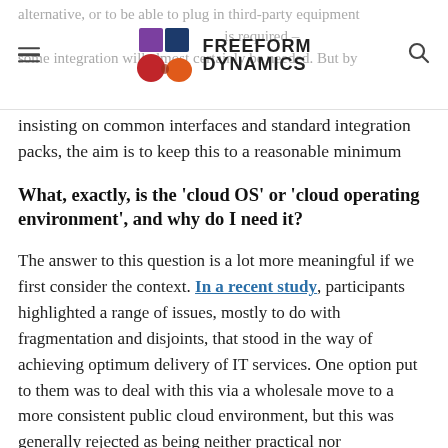Freeform Dynamics [logo]
alternative, or to be able to plug in third-party equipment needed. This is [logo] is required – some integration will almost certainly be needed. But by insisting on common interfaces and standard integration packs, the aim is to keep this to a reasonable minimum
What, exactly, is the 'cloud OS' or 'cloud operating environment', and why do I need it?
The answer to this question is a lot more meaningful if we first consider the context. In a recent study, participants highlighted a range of issues, mostly to do with fragmentation and disjoints, that stood in the way of achieving optimum delivery of IT services. One option put to them was to deal with this via a wholesale move to a more consistent public cloud environment, but this was generally rejected as being neither practical nor desirable.